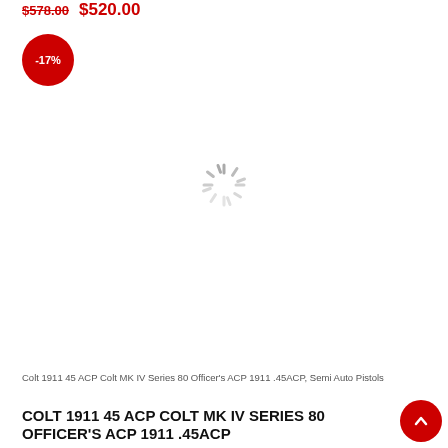$578.00  $520.00
[Figure (infographic): Red circular badge with -17% discount text]
[Figure (other): Loading spinner icon (gray circular spokes indicating loading state)]
Colt 1911 45 ACP Colt MK IV Series 80 Officer's ACP 1911 .45ACP, Semi Auto Pistols
COLT 1911 45 ACP COLT MK IV SERIES 80 OFFICER'S ACP 1911 .45ACP